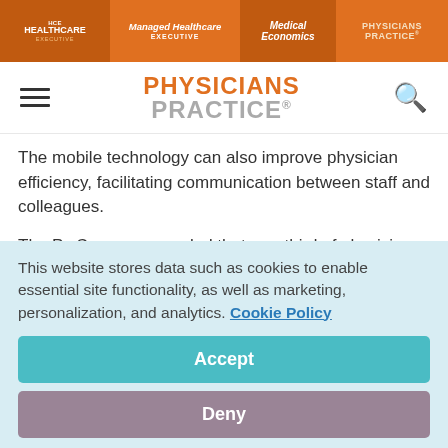HCE HEALTHCARE EXECUTIVE | Managed Healthcare EXECUTIVE | Medical Economics | PHYSICIANS PRACTICE
[Figure (logo): Physicians Practice logo with hamburger menu and search icon]
The mobile technology can also improve physician efficiency, facilitating communication between staff and colleagues.
The PwC survey revealed that one-third of physicians make decisions based on incomplete information for nearly 70 percent of their patients, and mobile devices can ease that gap by allowing docs to access more information when they
This website stores data such as cookies to enable essential site functionality, as well as marketing, personalization, and analytics. Cookie Policy
Accept
Deny